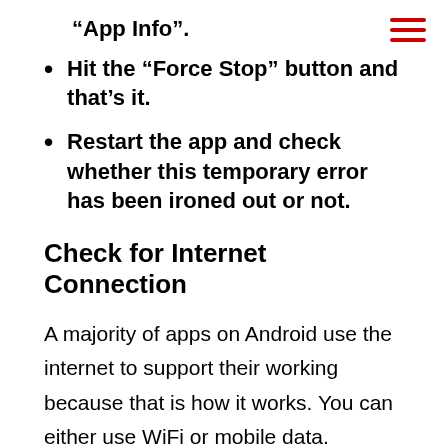“App Info”.
Hit the “Force Stop” button and that’s it.
Restart the app and check whether this temporary error has been ironed out or not.
Check for Internet Connection
A majority of apps on Android use the internet to support their working because that is how it works. You can either use WiFi or mobile data. Without a working and reliable internet connection, you won’t be able to do literally anything on these apps. Turns out instability or unreliability in